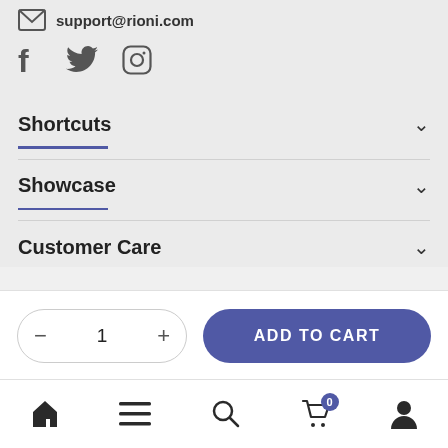support@rioni.com
[Figure (illustration): Social media icons: Facebook (f), Twitter (bird), Instagram (camera)]
Shortcuts
Showcase
Customer Care
[Figure (infographic): Quantity selector showing 1 with minus and plus buttons, and an Add to Cart button]
[Figure (infographic): Bottom navigation bar with home, menu, search, cart (badge 0), and profile icons]